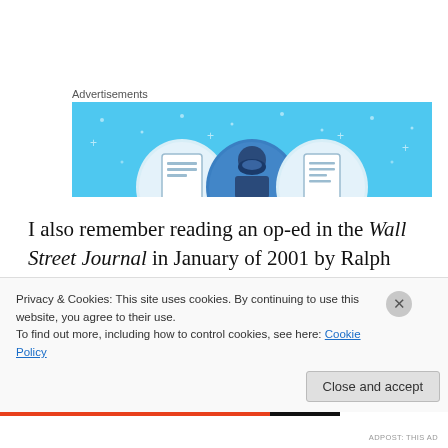Advertisements
[Figure (illustration): Advertisement banner with light blue background showing three circular icons with document/person graphics and small decorative dots]
I also remember reading an op-ed in the Wall Street Journal in January of 2001 by Ralph Nader suggesting that George W. Bush would probably be better on trade than Al Gore, who was an ultra-fanatic “free trader” which I knew was code for “offshoring jobs.” I
Privacy & Cookies: This site uses cookies. By continuing to use this website, you agree to their use.
To find out more, including how to control cookies, see here: Cookie Policy
Close and accept